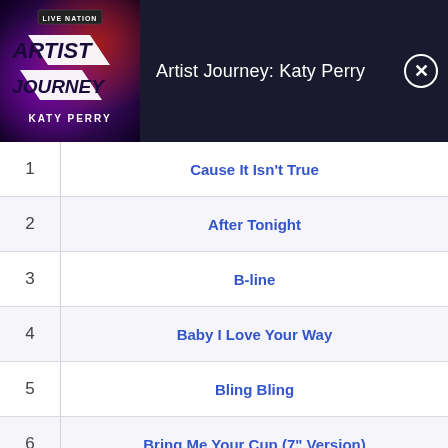[Figure (illustration): Live Nation Artist Journey: Katy Perry album art with dark purple/red background and stylized text logo]
Artist Journey: Katy Perry
| # | Track Name |
| --- | --- |
| 1 | Cause It Isn't True |
| 2 | After Tonight |
| 3 | B-line |
| 4 | Baby I Love Your Way |
| 5 | Bling Bling |
| 6 | Bring Me Your Cup (7" Version) |
| 7 | Doctor X |
| 8 | Don`t Let Is Pass You By |
| 9 | Dubmobile |
| 10 | Every Breath You Take |
| 11 | Falling In Love With You |
| 12 | Happiness |